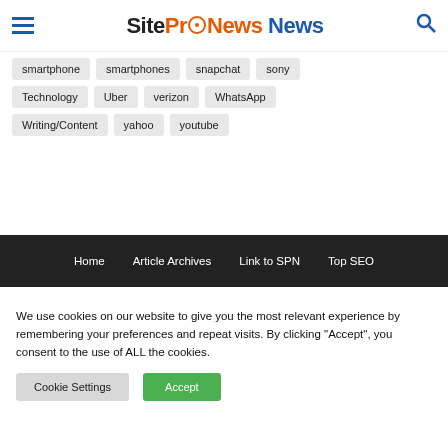SiteProNews
smartphone
smartphones
snapchat
sony
Technology
Uber
verizon
WhatsApp
Writing/Content
yahoo
youtube
Home   Article Archives   Link to SPN   Top SEO
We use cookies on our website to give you the most relevant experience by remembering your preferences and repeat visits. By clicking “Accept”, you consent to the use of ALL the cookies.
Cookie Settings   Accept